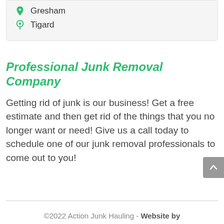Gresham
Tigard
Professional Junk Removal Company
Getting rid of junk is our business! Get a free estimate and then get rid of the things that you no longer want or need! Give us a call today to schedule one of our junk removal professionals to come out to you!
©2022 Action Junk Hauling - Website by